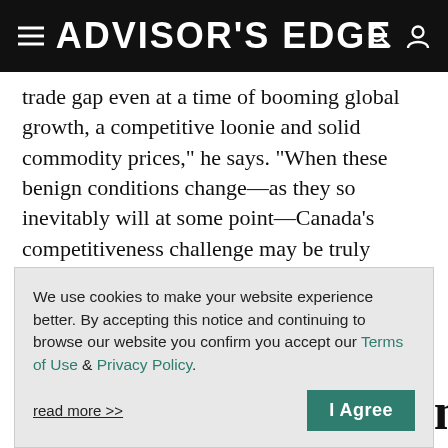ADVISOR'S EDGE
trade gap even at a time of booming global growth, a competitive loonie and solid commodity prices,” he says. “When these benign conditions change—as they so inevitably will at some point—Canada’s competitiveness challenge may be truly exposed.”
Read the full reports from BMO and Scotiabank.
How to invest durin
We use cookies to make your website experience better. By accepting this notice and continuing to browse our website you confirm you accept our Terms of Use & Privacy Policy.
read more >>
I Agree